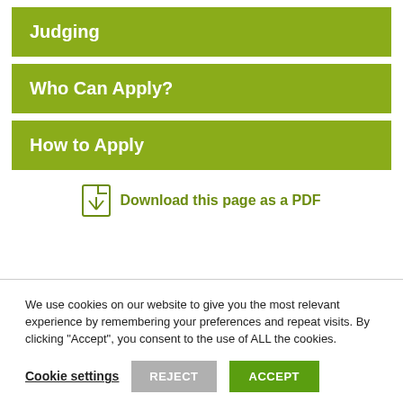Judging
Who Can Apply?
How to Apply
Download this page as a PDF
We use cookies on our website to give you the most relevant experience by remembering your preferences and repeat visits. By clicking "Accept", you consent to the use of ALL the cookies.
Cookie settings  REJECT  ACCEPT